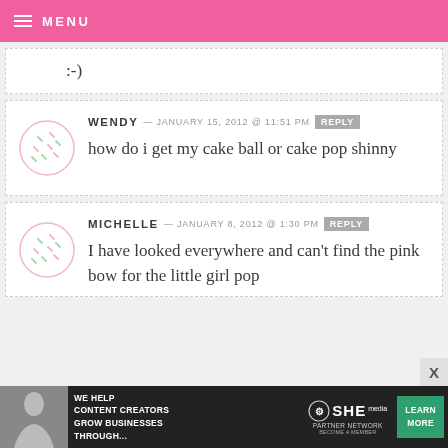MENU
:-)
WENDY — JANUARY 15, 2012 @ 11:51 PM REPLY
how do i get my cake ball or cake pop shinny
MICHELLE — JANUARY 8, 2012 @ 1:30 PM REPLY
I have looked everywhere and can't find the pink bow for the little girl pop
[Figure (infographic): SHE Media Partner Network advertisement banner with photo of woman, text 'WE HELP CONTENT CREATORS GROW BUSINESSES THROUGH...', SHE logo, and green LEARN MORE button]